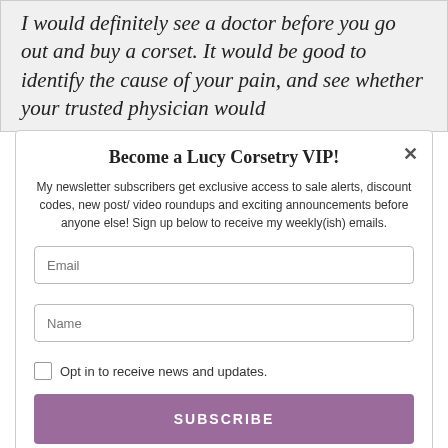I would definitely see a doctor before you go out and buy a corset. It would be good to identify the cause of your pain, and see whether your trusted physician would
Become a Lucy Corsetry VIP!
My newsletter subscribers get exclusive access to sale alerts, discount codes, new post/ video roundups and exciting announcements before anyone else! Sign up below to receive my weekly(ish) emails.
Email
Name
Opt in to receive news and updates.
SUBSCRIBE